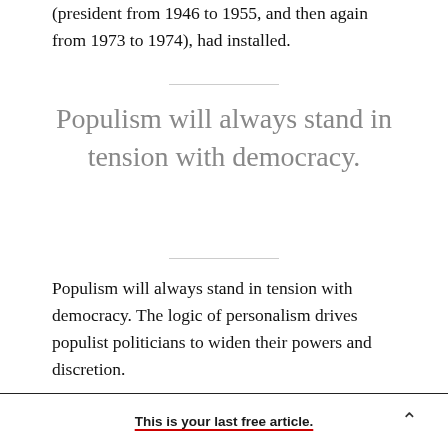(president from 1946 to 1955, and then again from 1973 to 1974), had installed.
Populism will always stand in tension with democracy.
Populism will always stand in tension with democracy. The logic of personalism drives populist politicians to widen their powers and discretion.
This is your last free article.